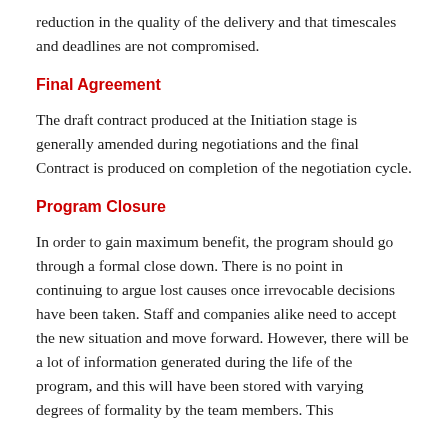reduction in the quality of the delivery and that timescales and deadlines are not compromised.
Final Agreement
The draft contract produced at the Initiation stage is generally amended during negotiations and the final Contract is produced on completion of the negotiation cycle.
Program Closure
In order to gain maximum benefit, the program should go through a formal close down. There is no point in continuing to argue lost causes once irrevocable decisions have been taken. Staff and companies alike need to accept the new situation and move forward. However, there will be a lot of information generated during the life of the program, and this will have been stored with varying degrees of formality by the team members. This